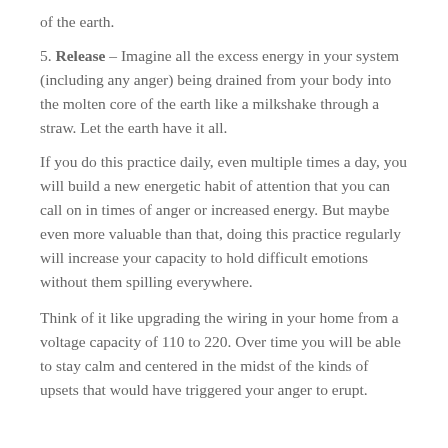of the earth.
5. Release – Imagine all the excess energy in your system (including any anger) being drained from your body into the molten core of the earth like a milkshake through a straw. Let the earth have it all.
If you do this practice daily, even multiple times a day, you will build a new energetic habit of attention that you can call on in times of anger or increased energy. But maybe even more valuable than that, doing this practice regularly will increase your capacity to hold difficult emotions without them spilling everywhere.
Think of it like upgrading the wiring in your home from a voltage capacity of 110 to 220. Over time you will be able to stay calm and centered in the midst of the kinds of upsets that would have triggered your anger to erupt.